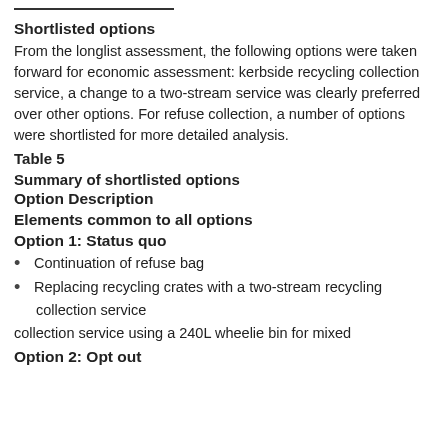Shortlisted options
From the longlist assessment, the following options were taken forward for economic assessment: kerbside recycling collection service, a change to a two-stream service was clearly preferred over other options. For refuse collection, a number of options were shortlisted for more detailed analysis.
Table 5
Summary of shortlisted options
Option Description
Elements common to all options
Option 1: Status quo
Continuation of refuse bag
Replacing recycling crates with a two-stream recycling collection service
collection service using a 240L wheelie bin for mixed
Option 2: Opt out